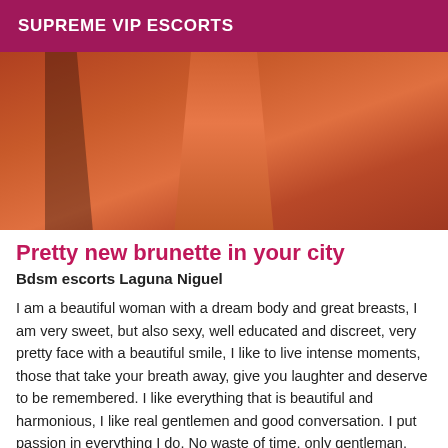SUPREME VIP ESCORTS
[Figure (photo): Close-up photo showing a person's torso and legs with warm orange/red toned lighting]
Pretty new brunette in your city
Bdsm escorts Laguna Niguel
I am a beautiful woman with a dream body and great breasts, I am very sweet, but also sexy, well educated and discreet, very pretty face with a beautiful smile, I like to live intense moments, those that take your breath away, give you laughter and deserve to be remembered. I like everything that is beautiful and harmonious, I like real gentlemen and good conversation. I put passion in everything I do. No waste of time, only gentleman.